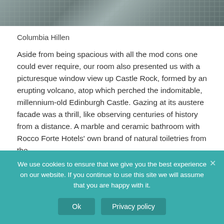[Figure (photo): Partial photo of a plaid/tartan upholstered chair or sofa, muted teal and grey tones, cropped at top of page]
Columbia Hillen
Aside from being spacious with all the mod cons one could ever require, our room also presented us with a picturesque window view up Castle Rock, formed by an erupting volcano, atop which perched the indomitable, millennium-old Edinburgh Castle. Gazing at its austere facade was a thrill, like observing centuries of history from a distance. A marble and ceramic bathroom with Rocco Forte Hotels' own brand of natural toiletries from the
We use cookies to ensure that we give you the best experience on our website. If you continue to use this site we will assume that you are happy with it.
Ok
Privacy policy